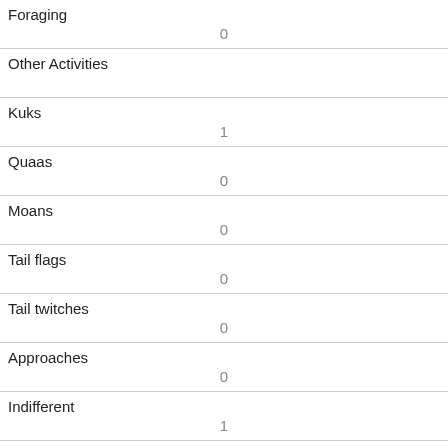| Foraging | 0 |
| Other Activities |  |
| Kuks | 1 |
| Quaas | 0 |
| Moans | 0 |
| Tail flags | 0 |
| Tail twitches | 0 |
| Approaches | 0 |
| Indifferent | 1 |
| Runs from | 0 |
| Other Interactions |  |